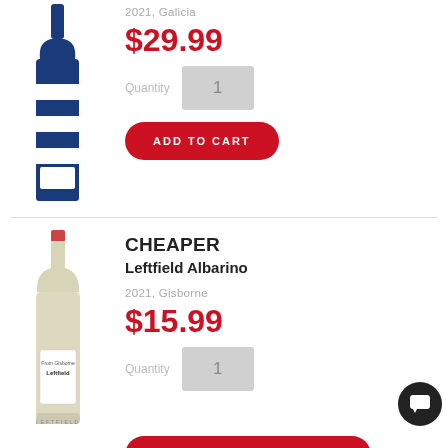[Figure (photo): Blue and white striped wine bottle (Gatos de Mar or similar), tall elegant bottle]
2021, Galicia
$29.99
Quantity  1
ADD TO CART
CHEAPER
Leftfield Albarino
[Figure (photo): Light beige/clear wine bottle (Leftfield Albarino), white label]
2021, Gisborne
$15.99
Quantity  1